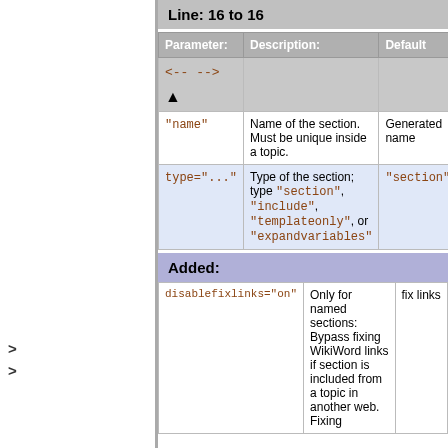Line: 16 to 16
| Parameter: | Description: | Default |
| --- | --- | --- |
| <-- -->  ▲ |  |  |
| "name" | Name of the section. Must be unique inside a topic. | Generated name |
| type="..." | Type of the section; type "section", "include", "templateonly", or "expandvariables" | "section" |
Added:
| Parameter: | Description: | Default |
| --- | --- | --- |
| disablefixlinks="on" | Only for named sections: Bypass fixing WikiWord links if section is included from a topic in another web. Fixing | fix links |